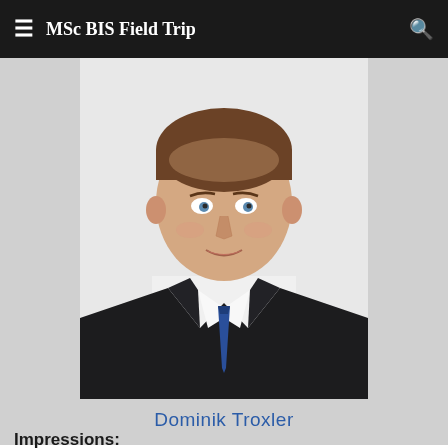MSc BIS Field Trip
[Figure (photo): Professional headshot of Dominik Troxler — a young man in a dark suit, white shirt, and blue tie, with short brown hair, smiling, against a light grey background.]
Dominik Troxler
Impressions: